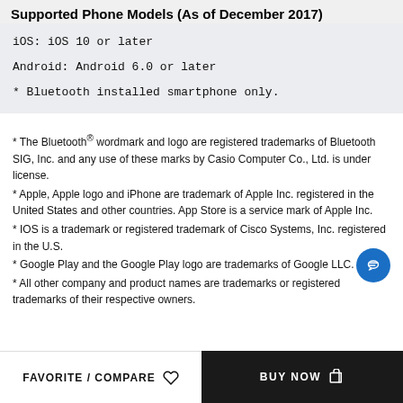Supported Phone Models (As of December 2017)
iOS: iOS 10 or later
Android: Android 6.0 or later
* Bluetooth installed smartphone only.
* The Bluetooth® wordmark and logo are registered trademarks of Bluetooth SIG, Inc. and any use of these marks by Casio Computer Co., Ltd. is under license.
* Apple, Apple logo and iPhone are trademark of Apple Inc. registered in the United States and other countries. App Store is a service mark of Apple Inc.
* IOS is a trademark or registered trademark of Cisco Systems, Inc. registered in the U.S.
* Google Play and the Google Play logo are trademarks of Google LLC.
* All other company and product names are trademarks or registered trademarks of their respective owners.
FAVORITE / COMPARE   BUY NOW